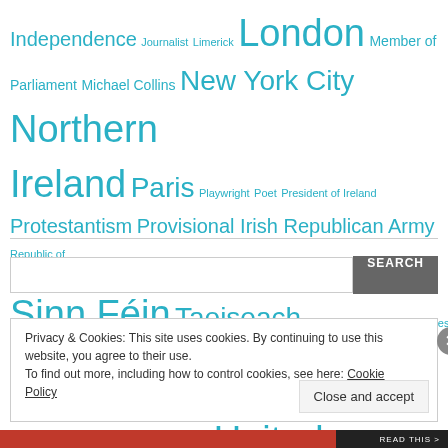Independence Journalist Limerick London Member of Parliament Michael Collins New York City Northern Ireland Paris Playwright Poet President of Ireland Protestantism Provisional Irish Republican Army Republic of Ireland Rome Royal Irish Constabulary Royal Ulster Constabulary Scotland Sinn Féin Taoiseach Teachta Dála The Irish Times The Troubles Trinity College Dublin Ulster United Kingdom United States University College Dublin World War I World War II Éamon De Valera
Privacy & Cookies: This site uses cookies. By continuing to use this website, you agree to their use. To find out more, including how to control cookies, see here: Cookie Policy
Close and accept